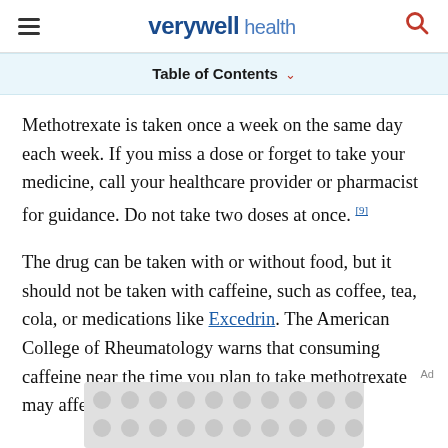verywell health
Table of Contents
Methotrexate is taken once a week on the same day each week. If you miss a dose or forget to take your medicine, call your healthcare provider or pharmacist for guidance. Do not take two doses at once. [9]
The drug can be taken with or without food, but it should not be taken with caffeine, such as coffee, tea, cola, or medications like Excedrin. The American College of Rheumatology warns that consuming caffeine near the time you plan to take methotrexate may affect the absorption of the